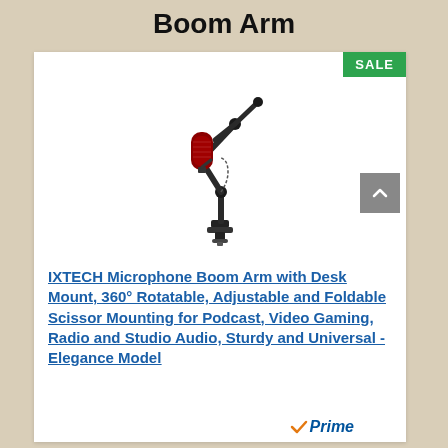Boom Arm
[Figure (photo): Product photo of IXTECH Microphone Boom Arm mounted on a desk clamp, with a red/black microphone attached, black scissor arm, against white background. Green SALE badge in top-right corner.]
IXTECH Microphone Boom Arm with Desk Mount, 360° Rotatable, Adjustable and Foldable Scissor Mounting for Podcast, Video Gaming, Radio and Studio Audio, Sturdy and Universal - Elegance Model
[Figure (logo): Amazon Prime logo with orange checkmark and blue italic 'Prime' text]